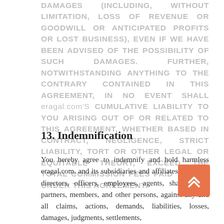DAMAGES (INCLUDING, WITHOUT LIMITATION, LOSS OF REVENUE OR GOODWILL OR ANTICIPATED PROFITS OR LOST BUSINESS), EVEN IF WE HAVE BEEN ADVISED OF THE POSSIBILITY OF SUCH DAMAGES. FURTHER, NOTWITHSTANDING ANYTHING TO THE CONTRARY CONTAINED IN THIS AGREEMENT, IN NO EVENT SHALL eragal.com'S CUMULATIVE LIABILITY TO YOU ARISING OUT OF OR RELATED TO THIS AGREEMENT, WHETHER BASED IN CONTRACT, NEGLIGENCE, STRICT LIABILITY, TORT OR OTHER LEGAL OR EQUITABLE THEORY, EXCEED THE TOTAL COMMISSION FEES PAID TO YOU UNDER THIS AGREEMENT.
13. Indemnification
You hereby agree to indemnify and hold harmless eragal.com, and its subsidiaries and affiliates, and their directors, officers, employees, agents, shareholders, partners, members, and other persons, against any and all claims, actions, demands, liabilities, losses, damages, judgments, settlements,